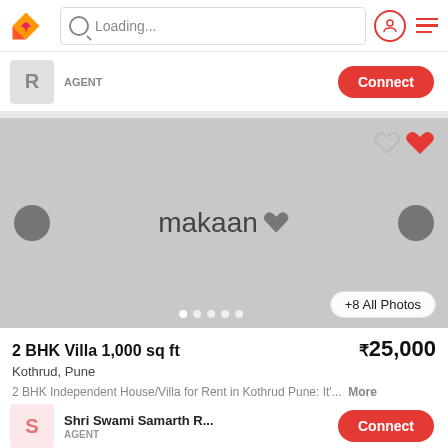Loading...
AGENT | Connect
[Figure (screenshot): Property listing image placeholder with makaan logo and heart icons, navigation arrows, photo dots indicator, and +8 All Photos button]
2 BHK Villa 1,000 sq ft | ₹25,000
Kothrud, Pune
2 BHK Independent House/Villa for Rent in Kothrud Pune: It'... More
Shri Swami Samarth R... | AGENT | Connect